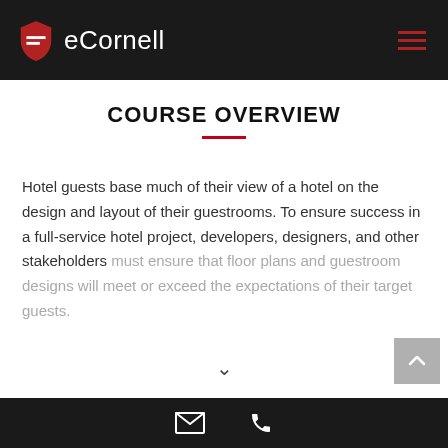eCornell
COURSE OVERVIEW
Hotel guests base much of their view of a hotel on the design and layout of their guestrooms. To ensure success in a full-service hotel project, developers, designers, and other stakeholders must ensure that floor plans and guestroom designs will meet or exceed the expectations of their target guests.
email | phone